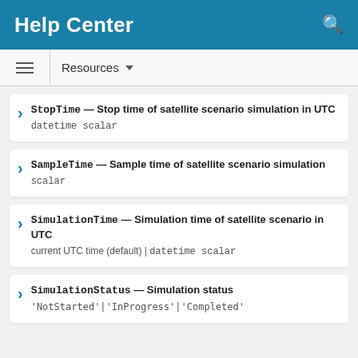Help Center
Resources
StopTime — Stop time of satellite scenario simulation in UTC | datetime scalar
SampleTime — Sample time of satellite scenario simulation | scalar
SimulationTime — Simulation time of satellite scenario in UTC | current UTC time (default) | datetime scalar
SimulationStatus — Simulation status | 'NotStarted'|'InProgress'|'Completed'